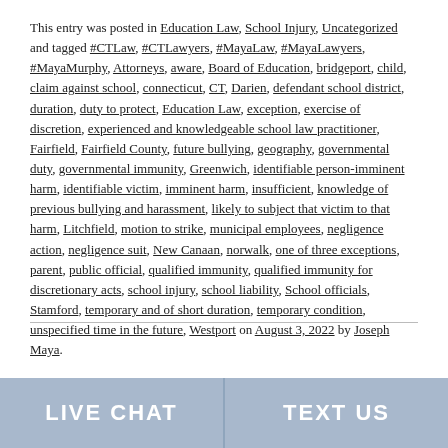This entry was posted in Education Law, School Injury, Uncategorized and tagged #CTLaw, #CTLawyers, #MayaLaw, #MayaLawyers, #MayaMurphy, Attorneys, aware, Board of Education, bridgeport, child, claim against school, connecticut, CT, Darien, defendant school district, duration, duty to protect, Education Law, exception, exercise of discretion, experienced and knowledgeable school law practitioner, Fairfield, Fairfield County, future bullying, geography, governmental duty, governmental immunity, Greenwich, identifiable person-imminent harm, identifiable victim, imminent harm, insufficient, knowledge of previous bullying and harassment, likely to subject that victim to that harm, Litchfield, motion to strike, municipal employees, negligence action, negligence suit, New Canaan, norwalk, one of three exceptions, parent, public official, qualified immunity, qualified immunity for discretionary acts, school injury, school liability, School officials, Stamford, temporary and of short duration, temporary condition, unspecified time in the future, Westport on August 3, 2022 by Joseph Maya.
LIVE CHAT
TEXT US